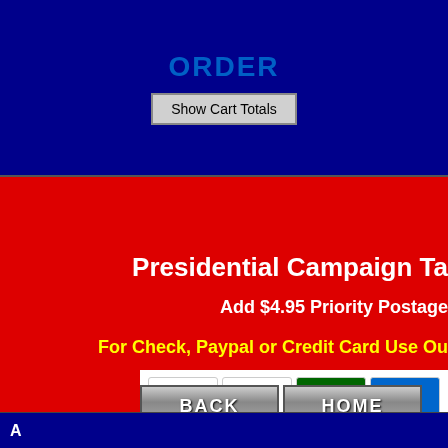ORDER
Show Cart Totals
Presidential Campaign Ta
Add $4.95 Priority Postage
For Check, Paypal or Credit Card Use Ou
[Figure (other): Payment method logos: VISA, MasterCard, Discover/Novus, American Express Cards]
BACK
HOME
A